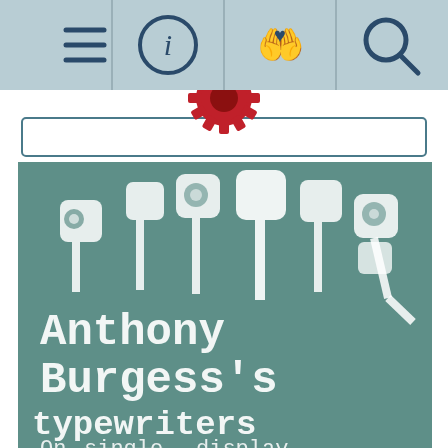[Figure (screenshot): Navigation bar with four icons: hamburger menu, info (i), heart-in-hand, and search magnifier on a light blue-grey background]
[Figure (logo): Red gear/cog logo centered above a search bar]
[Figure (illustration): Book cover or exhibition graphic on teal/dark green background showing stylized typewriter keys as lollipop shapes, with white typewriter-style text reading 'Anthony Burgess's typewriters' and partial text 'On single display' where 'single' is struck through]